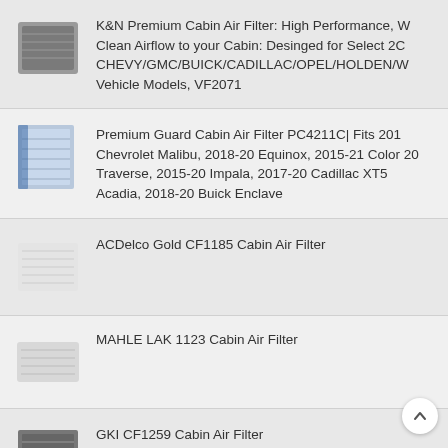K&N Premium Cabin Air Filter: High Performance, W Clean Airflow to your Cabin: Desinged for Select 2C CHEVY/GMC/BUICK/CADILLAC/OPEL/HOLDEN/W Vehicle Models, VF2071
Premium Guard Cabin Air Filter PC4211C| Fits 201 Chevrolet Malibu, 2018-20 Equinox, 2015-21 Color 20 Traverse, 2015-20 Impala, 2017-20 Cadillac XT5 Acadia, 2018-20 Buick Enclave
ACDelco Gold CF1185 Cabin Air Filter
MAHLE LAK 1123 Cabin Air Filter
GKI CF1259 Cabin Air Filter